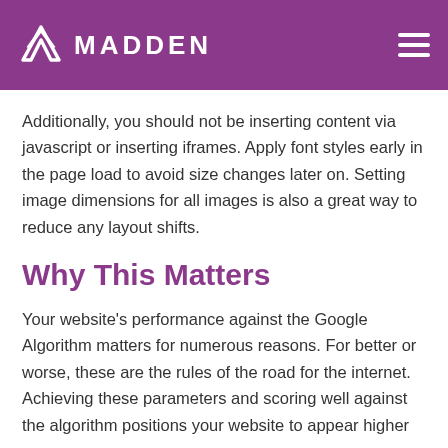MADDEN
Additionally, you should not be inserting content via javascript or inserting iframes. Apply font styles early in the page load to avoid size changes later on. Setting image dimensions for all images is also a great way to reduce any layout shifts.
Why This Matters
Your website's performance against the Google Algorithm matters for numerous reasons. For better or worse, these are the rules of the road for the internet. Achieving these parameters and scoring well against the algorithm positions your website to appear higher